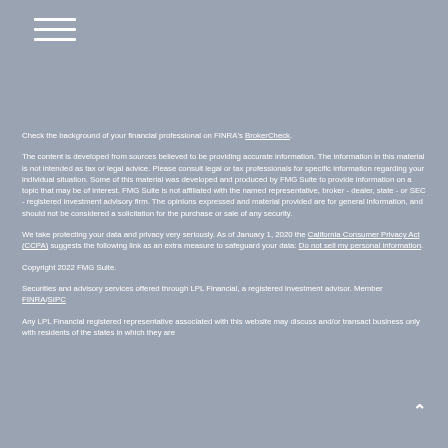[Figure (other): Hamburger menu icon with three horizontal white lines]
Check the background of your financial professional on FINRA's BrokerCheck.
The content is developed from sources believed to be providing accurate information. The information in this material is not intended as tax or legal advice. Please consult legal or tax professionals for specific information regarding your individual situation. Some of this material was developed and produced by FMG Suite to provide information on a topic that may be of interest. FMG Suite is not affiliated with the named representative, broker - dealer, state - or SEC - registered investment advisory firm. The opinions expressed and material provided are for general information, and should not be considered a solicitation for the purchase or sale of any security.
We take protecting your data and privacy very seriously. As of January 1, 2020 the California Consumer Privacy Act (CCPA) suggests the following link as an extra measure to safeguard your data: Do not sell my personal information.
Copyright 2022 FMG Suite.
Securities and advisory services offered through LPL Financial, a registered investment advisor. Member FINRA/SIPC
Any LPL Financial registered representative associated with this website may discuss and/or transact business only with residents of the states in which they are